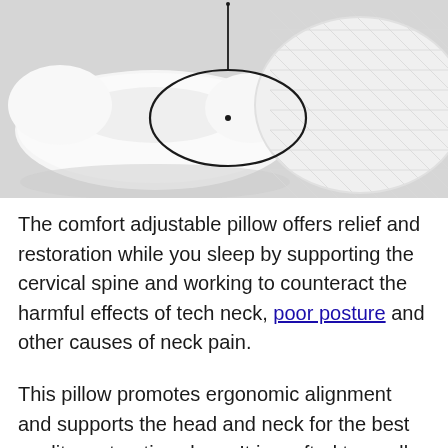[Figure (photo): A white ergonomic cervical pillow with a quilted cover on the right and a contoured memory foam pillow on the left, with a black oval circle annotation pointing to the center indentation area of the pillow.]
The comfort adjustable pillow offers relief and restoration while you sleep by supporting the cervical spine and working to counteract the harmful effects of tech neck, poor posture and other causes of neck pain.
This pillow promotes ergonomic alignment and supports the head and neck for the best quality restorative sleep. It is crafted to cradle the head and neck in comfort, while promoting the best alignment with less stress on the cervical spine.
Read more...